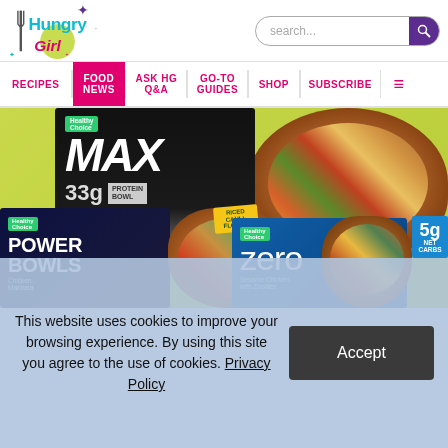[Figure (logo): Hungry Girl website logo with fork, circular green emblem, teal and magenta text, and sparkle stars]
search...
RECIPES | FOOD NEWS | ASK HG Q&A | GO-TO GUIDES | SHOP | SUBSCRIBE | ☰
[Figure (photo): Healthy Choice frozen food product boxes including MAX Protein Bowl (33g protein), Power Bowls Chicken Marinara, and Zero Sesame Chicken (5g net carbs) with food photography of colorful bowls]
This website uses cookies to improve your browsing experience. By using this site you agree to the use of cookies. Privacy Policy
Accept